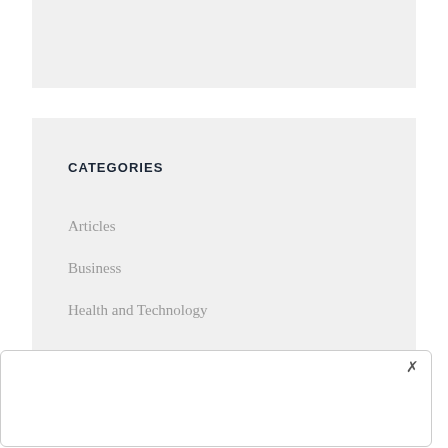[Figure (other): Gray rectangular block at top of page, appears to be a placeholder or image area]
CATEGORIES
Articles
Business
Health and Technology
[Figure (other): White modal dialog box with close X button in top right corner]